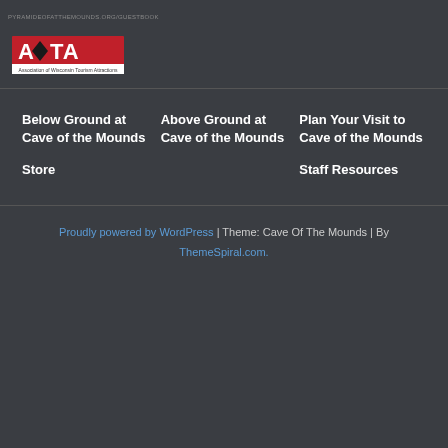PYRAMIDEOFATTHEMOUNDS.ORG/GUESTBOOK
[Figure (logo): AWTA - Association of Wisconsin Tourism Attractions logo with red text and black diamond shape]
Below Ground at Cave of the Mounds
Above Ground at Cave of the Mounds
Plan Your Visit to Cave of the Mounds
Store
Staff Resources
Proudly powered by WordPress | Theme: Cave Of The Mounds | By ThemeSpiral.com.